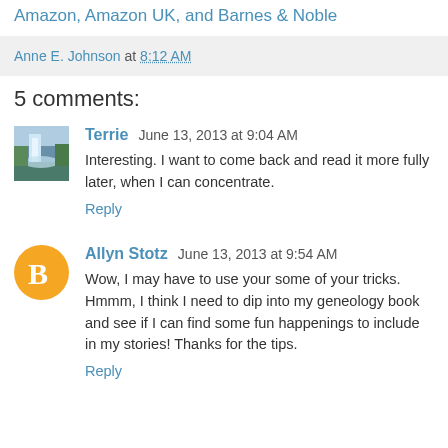Amazon, Amazon UK, and Barnes & Noble
Anne E. Johnson at 8:12 AM
5 comments:
Terrie  June 13, 2013 at 9:04 AM
Interesting. I want to come back and read it more fully later, when I can concentrate.
Reply
Allyn Stotz  June 13, 2013 at 9:54 AM
Wow, I may have to use your some of your tricks. Hmmm, I think I need to dip into my geneology book and see if I can find some fun happenings to include in my stories! Thanks for the tips.
Reply